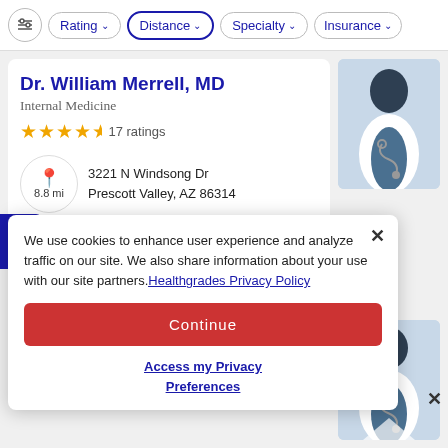Rating | Distance | Specialty | Insurance
Dr. William Merrell, MD
Internal Medicine
★★★★½ 17 ratings
8.8 mi  3221 N Windsong Dr Prescott Valley, AZ 86314
Easy scheduling
Employs friendly staff
Explains conditions well
[Figure (illustration): Doctor silhouette placeholder image with stethoscope]
We use cookies to enhance user experience and analyze traffic on our site. We also share information about your use with our site partners. Healthgrades Privacy Policy
Continue
Access my Privacy Preferences
[Figure (illustration): Second doctor silhouette placeholder image with stethoscope]